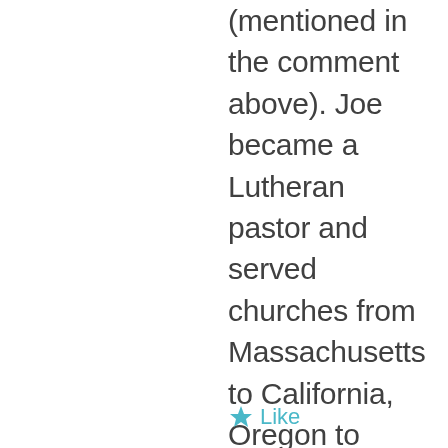(mentioned in the comment above). Joe became a Lutheran pastor and served churches from Massachusetts to California, Oregon to Florida and many other places. On one trip to Maddock for a family reunion we were able to go inside Immanuel where Joe was able to preach from the pulpit for a few minutes and his sister, Mary Ann Rangen Swanson, played the piano. That's a great memory. Thanks for posting your wonderful images.
Like